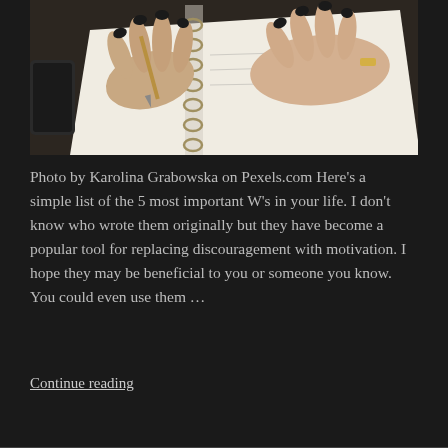[Figure (photo): Close-up photo of a person with dark nail polish writing in a spiral-bound notebook on a dark desk surface. Ring visible on one hand.]
Photo by Karolina Grabowska on Pexels.com Here’s a simple list of the 5 most important W’s in your life. I don’t know who wrote them originally but they have become a popular tool for replacing discouragement with motivation. I hope they may be beneficial to you or someone you know. You could even use them …
Continue reading